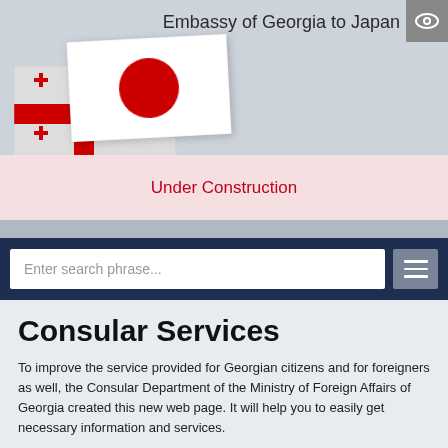Embassy of Georgia to Japan
[Figure (illustration): Two overlapping national flags: the Flag of Georgia (white with red cross and four smaller red crosses) and the Flag of Japan (white with red circle), arranged at a slight angle on a grey background.]
Under Construction
Enter search phrase...
Consular Services
To improve the service provided for Georgian citizens and for foreigners as well, the Consular Department of the Ministry of Foreign Affairs of Georgia created this new web page. It will help you to easily get necessary information and services.